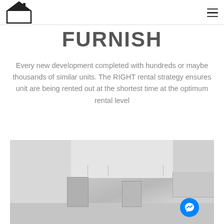Property Buddy logo and navigation menu
FURNISH
Every new development completed with hundreds or maybe thousands of similar units. The RIGHT rental strategy ensures unit are being rented out at the shortest time at the optimum rental level
[Figure (photo): Interior photo of an unfurnished apartment room with white walls, ceiling light cable drops, a door and cabinetry visible]